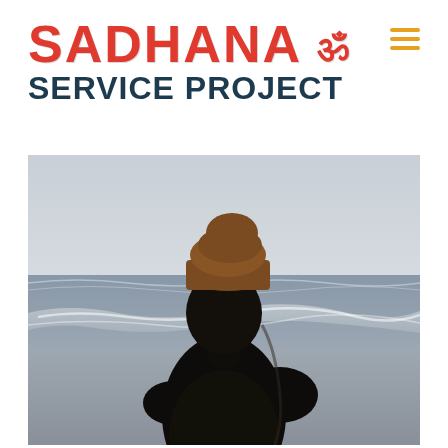SADHANA ॐ SERVICE PROJECT
[Figure (photo): Side profile silhouette of a man wearing a brown beanie hat and dark t-shirt, standing on a beach with ocean waves in the background and a light grey sky.]